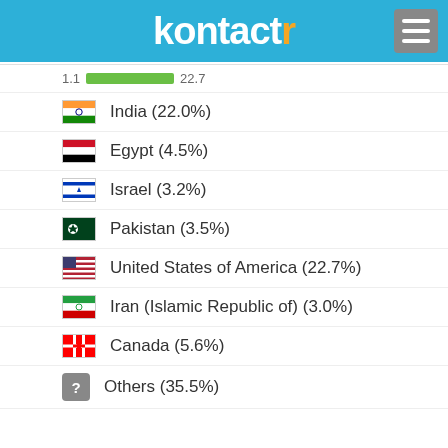kontactr
India (22.0%)
Egypt (4.5%)
Israel (3.2%)
Pakistan (3.5%)
United States of America (22.7%)
Iran (Islamic Republic of) (3.0%)
Canada (5.6%)
Others (35.5%)